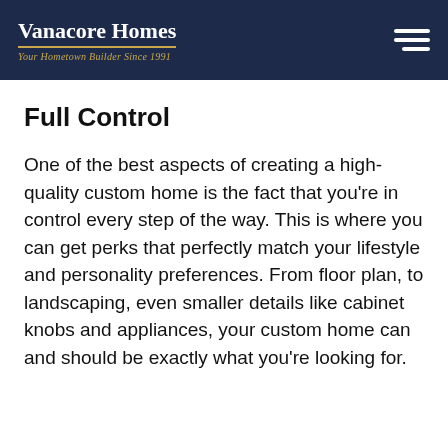Vanacore Homes — Your Hometown Builder Since 1991
Full Control
One of the best aspects of creating a high-quality custom home is the fact that you’re in control every step of the way. This is where you can get perks that perfectly match your lifestyle and personality preferences. From floor plan, to landscaping, even smaller details like cabinet knobs and appliances, your custom home can and should be exactly what you’re looking for.